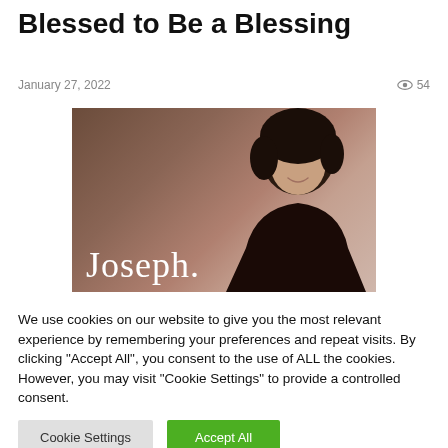Blessed to Be a Blessing
January 27, 2022   54
[Figure (photo): Photo of Joseph Prince with name text overlay on a brown background]
We use cookies on our website to give you the most relevant experience by remembering your preferences and repeat visits. By clicking "Accept All", you consent to the use of ALL the cookies. However, you may visit "Cookie Settings" to provide a controlled consent.
Cookie Settings  Accept All